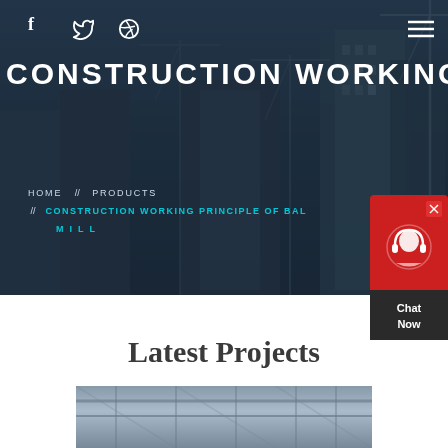[Figure (photo): Hero background showing construction site with cranes and tall buildings under blue-grey overlay]
f  🐦  ⊕  ≡
CONSTRUCTION WORKING PRIN
HOME  //  PRODUCTS  //  CONSTRUCTION WORKING PRINCIPLE OF BAL MILL
[Figure (infographic): Red chat widget with headset icon and Chat Now text]
Latest Projects
[Figure (photo): Industrial construction interior photo showing ceiling structure]